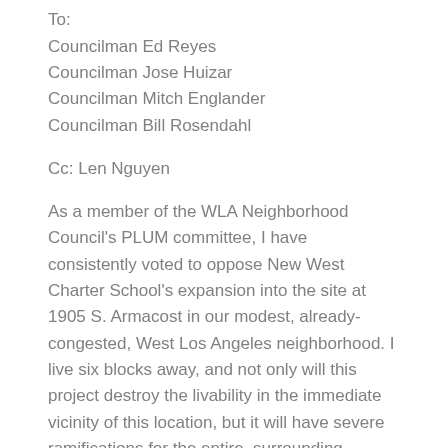To:
Councilman Ed Reyes
Councilman Jose Huizar
Councilman Mitch Englander
Councilman Bill Rosendahl
Cc: Len Nguyen
As a member of the WLA Neighborhood Council's PLUM committee, I have consistently voted to oppose New West Charter School's expansion into the site at 1905 S. Armacost in our modest, already-congested, West Los Angeles neighborhood. I live six blocks away, and not only will this project destroy the livability in the immediate vicinity of this location, but it will have severe ramifications for the entire, surrounding community.
You have to ask yourselves why the administrators and parents are so gung-ho about sending their kids to school in a WAREHOUSE…